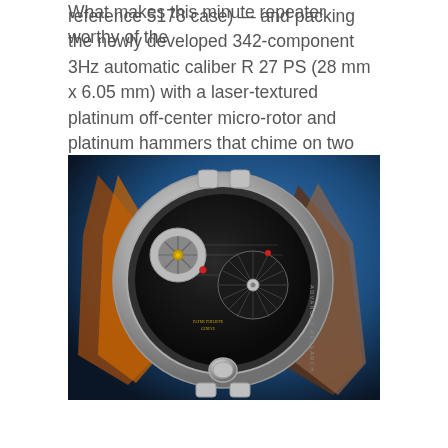reference 5178 case) — and packing the newly developed 342-component 3Hz automatic caliber R 27 PS (28 mm x 6.05 mm) with a laser-textured platinum off-center micro-rotor and platinum hammers that chime on two classic gongs.
[Figure (photo): Close-up photograph of the back of a luxury Patek Philippe watch showing the transparent display caseback revealing the automatic movement with off-center micro-rotor, platinum hammers, and intricate movement components. The watch has a brown/orange leather strap on a blue gradient background. Text 'ADVANCED RESEARCH' is engraved on the case.]
What makes this minute repeater worthy of the